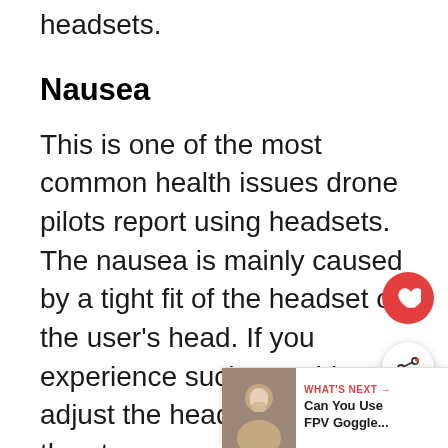headsets.
Nausea
This is one of the most common health issues drone pilots report using headsets. The nausea is mainly caused by a tight fit of the headset on the user's head. If you experience such a problem, adjust the headset or loosen the straps.
Eye problems
Using VR headsets might cause you to strain your eyes as you try to focus on the screen. Most VR devices automatically...